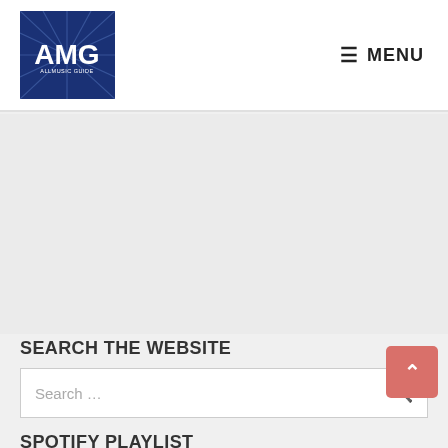[Figure (logo): AMG logo: dark blue square with white sunburst rays and bold white text 'AMG' with smaller subtitle text below]
☰ MENU
SEARCH THE WEBSITE
Search …
SPOTIFY PLAYLIST